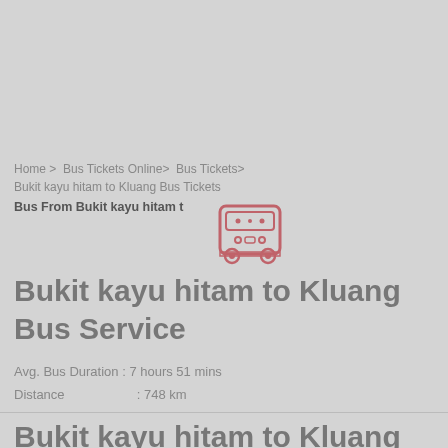Home > Bus Tickets Online> Bus Tickets> Bukit kayu hitam to Kluang Bus Tickets
Bus From Bukit kayu hitam t
[Figure (illustration): Pink/red outline icon of a bus, front-facing, with windows and headlights]
Bukit kayu hitam to Kluang Bus Service
Avg. Bus Duration : 7 hours 51 mins
Distance                    : 748 km
Bukit kayu hitam to Kluang Bus Schedule & Fare